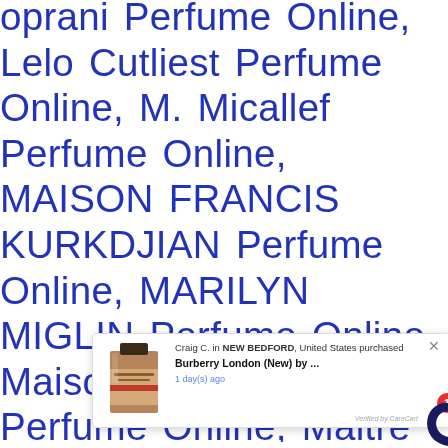oprani Perfume Online, Lelo Cutliest Perfume Online, M. Micallef Perfume Online, MAISON FRANCIS KURKDJIAN Perfume Online, MARILYN MIGLIN Perfume Online, Maison Francis Kurkdjian Perfume Online, Maitre Parfumeur et Gantier Perfume Online, Majda Bekkali Perfume Online, Mally Perfume Online, Mancera Perfume Online, Mandalay Bay Perfume Online, Mandarina Duck Perfume Online, Manuel Canovas Perfume Online, Marc Ecko Perfume Online, Marc Jacobs Perfume Online, Marina De Bourbon Perfume Online,
[Figure (screenshot): A popup notification widget showing: Craig C. in NEW BEDFORD, United States purchased Burberry London (New) by ... 1 day(s) ago. Verified by CareCart. A red badge with number 1 and CareCart icon visible. A product image of Burberry London perfume bottle on the left.]